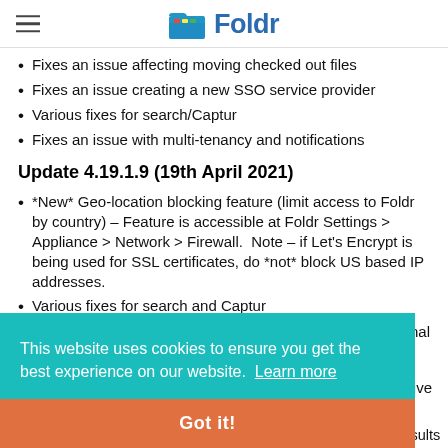Foldr
Fixes an issue affecting moving checked out files
Fixes an issue creating a new SSO service provider
Various fixes for search/Captur
Fixes an issue with multi-tenancy and notifications
Update 4.19.1.9 (19th April 2021)
*New* Geo-location blocking feature (limit access to Foldr by country) – Feature is accessible at Foldr Settings > Appliance > Network > Firewall.  Note – if Let's Encrypt is being used for SSL certificates, do *not* block US based IP addresses.
Various fixes for search and Captur
This website uses cookies to ensure you get the best experience on our website. Learn more
Got it!